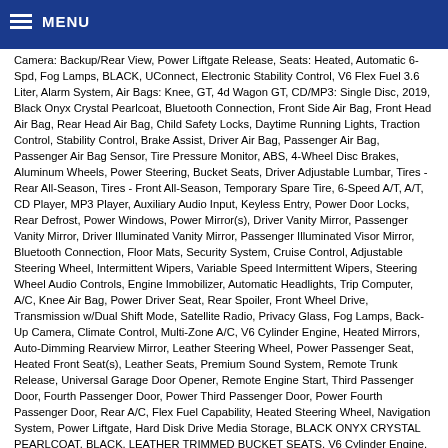MENU
Camera: Backup/Rear View, Power Liftgate Release, Seats: Heated, Automatic 6-Spd, Fog Lamps, BLACK, UConnect, Electronic Stability Control, V6 Flex Fuel 3.6 Liter, Alarm System, Air Bags: Knee, GT, 4d Wagon GT, CD/MP3: Single Disc, 2019, Black Onyx Crystal Pearlcoat, Bluetooth Connection, Front Side Air Bag, Front Head Air Bag, Rear Head Air Bag, Child Safety Locks, Daytime Running Lights, Traction Control, Stability Control, Brake Assist, Driver Air Bag, Passenger Air Bag, Passenger Air Bag Sensor, Tire Pressure Monitor, ABS, 4-Wheel Disc Brakes, Aluminum Wheels, Power Steering, Bucket Seats, Driver Adjustable Lumbar, Tires - Rear All-Season, Tires - Front All-Season, Temporary Spare Tire, 6-Speed A/T, A/T, CD Player, MP3 Player, Auxiliary Audio Input, Keyless Entry, Power Door Locks, Rear Defrost, Power Windows, Power Mirror(s), Driver Vanity Mirror, Passenger Vanity Mirror, Driver Illuminated Vanity Mirror, Passenger Illuminated Visor Mirror, Bluetooth Connection, Floor Mats, Security System, Cruise Control, Adjustable Steering Wheel, Intermittent Wipers, Variable Speed Intermittent Wipers, Steering Wheel Audio Controls, Engine Immobilizer, Automatic Headlights, Trip Computer, A/C, Knee Air Bag, Power Driver Seat, Rear Spoiler, Front Wheel Drive, Transmission w/Dual Shift Mode, Satellite Radio, Privacy Glass, Fog Lamps, Back-Up Camera, Climate Control, Multi-Zone A/C, V6 Cylinder Engine, Heated Mirrors, Auto-Dimming Rearview Mirror, Leather Steering Wheel, Power Passenger Seat, Heated Front Seat(s), Leather Seats, Premium Sound System, Remote Trunk Release, Universal Garage Door Opener, Remote Engine Start, Third Passenger Door, Fourth Passenger Door, Power Third Passenger Door, Power Fourth Passenger Door, Rear A/C, Flex Fuel Capability, Heated Steering Wheel, Navigation System, Power Liftgate, Hard Disk Drive Media Storage, BLACK ONYX CRYSTAL PEARLCOAT, BLACK, LEATHER TRIMMED BUCKET SEATS, V6 Cylinder Engine, Flex Fuel Capability
Home
Get Approved
New Car Inventory
Used Car Inventory
Help Me Find a Car
Why Choose Us
Schedule Appointment
Service
Contact Us
Copyright 2022 CarloanExpress.Com. Website by ProMax. View Sitemap
John Figueroa, Loan Coordinator